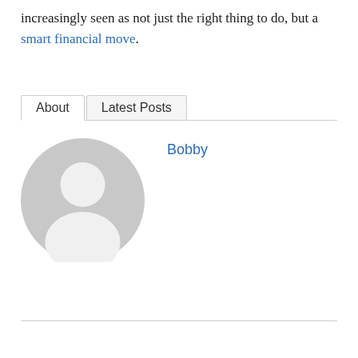increasingly seen as not just the right thing to do, but a smart financial move.
About | Latest Posts
[Figure (illustration): Generic avatar/profile placeholder image: a gray circle with a white silhouette of a person (head and shoulders).]
Bobby